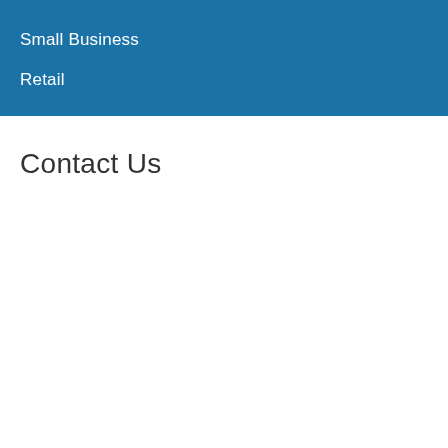Small Business
Retail
Contact Us